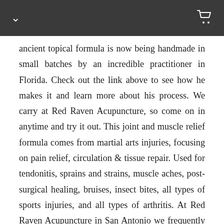ancient topical formula is now being handmade in small batches by an incredible practitioner in Florida. Check out the link above to see how he makes it and learn more about his process. We carry at Red Raven Acupuncture, so come on in anytime and try it out. This joint and muscle relief formula comes from martial arts injuries, focusing on pain relief, circulation & tissue repair. Used for tendonitis, sprains and strains, muscle aches, post-surgical healing, bruises, insect bites, all types of sports injuries, and all types of arthritis. At Red Raven Acupuncture in San Antonio we frequently use this liniment in our treatments so you will be able to find out how effective it is